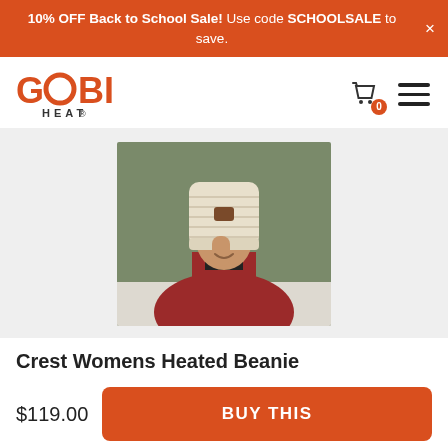10% OFF Back to School Sale! Use code SCHOOLSALE to save.
[Figure (logo): Gobi Heat brand logo in orange and dark text]
[Figure (photo): Woman smiling and adjusting a cream-colored knit beanie hat, wearing a red jacket, outdoor winter setting]
Crest Womens Heated Beanie
$119.00
BUY THIS